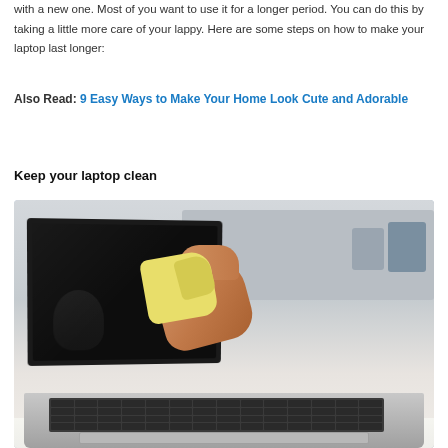with a new one. Most of you want to use it for a longer period. You can do this by taking a little more care of your lappy. Here are some steps on how to make your laptop last longer:
Also Read: 9 Easy Ways to Make Your Home Look Cute and Adorable
Keep your laptop clean
[Figure (photo): A person's hand holding a yellow cloth wiping a laptop screen. The laptop is open on a white table surface. In the background there is a gray sofa with blue and gray cushions.]